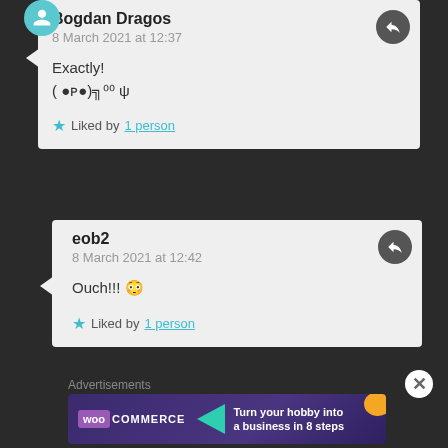Bogdan Dragos
8 March 2021 at 12:37
Exactly!
( ●ω●)╗⁰⁰ ψ
Liked by 1 person
eob2
8 March 2021 at 12:42
Ouch!!! 😳
Liked by 1 person
Advertisements
[Figure (infographic): WooCommerce advertisement banner: Turn your hobby into a business in 8 steps]